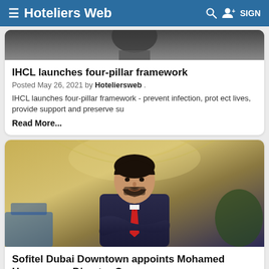≡ Hoteliers Web  🔍  👤+ SIGN
[Figure (photo): Partial photo of a person at the top of the first article card]
IHCL launches four-pillar framework
Posted May 26, 2021 by Hoteliersweb .
IHCL launches four-pillar framework - prevent infection, protect lives, provide support and preserve su
Read More...
[Figure (photo): Professional headshot of Mohamed Hawwam, a man in a dark suit with a red tie, arms crossed, in a hotel lobby setting]
Sofitel Dubai Downtown appoints Mohamed Hawwam as Director Ops
Posted May 26, 2021 by Hoteliersweb .